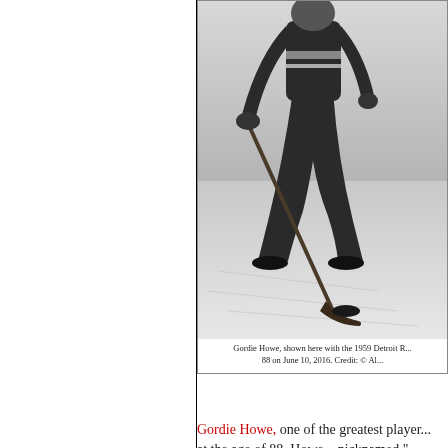[Figure (photo): Black and white photograph of Gordie Howe skating with a hockey stick on ice, wearing a Detroit Red Wings uniform, with a puck visible on the ice.]
Gordie Howe, shown here with the 1959 Detroit R... 88 on June 10, 2016. Credit: © Al...
Gordie Howe, one of the greatest players at the age of 88. Howe—nicknamed "... professional career as a right wing for Hockey League (NHL). He retired from ... individual records. He also left a lega...